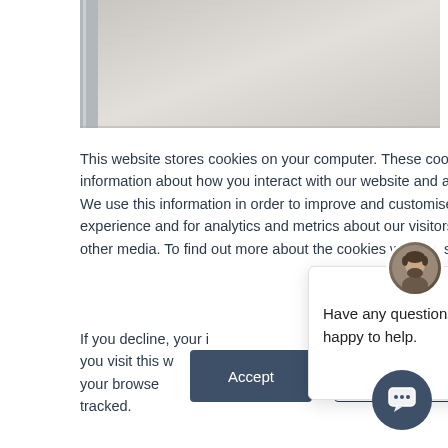[Figure (photo): Partial view of a light grey interior room with a window on the left side — hero/banner image at top of page.]
This website stores cookies on your computer. These cookies are used to collect information about how you interact with our website and allow us to remember you. We use this information in order to improve and customise your browsing experience and for analytics and metrics about our visitors both on this website and other media. To find out more about the cookies we use, see our Privacy Policy.
If you decline, your information won't be tracked when you visit this website. A single cookie will be used in your browser to remember your preference not to be tracked.
[Figure (screenshot): Chat popup with avatar photo of a man, close button (×), and message 'Have any questions? I'm happy to help.']
Accept
Decline